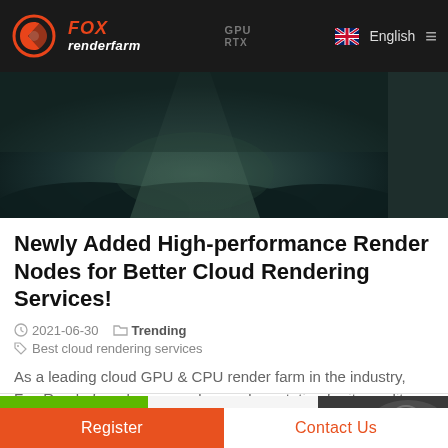Fox Renderfarm | GPU English
[Figure (photo): Dark atmospheric hero image showing cloud rendering or 3D render scene with dark teal/green tones]
Newly Added High-performance Render Nodes for Better Cloud Rendering Services!
2021-06-30   Trending
Best cloud rendering services
As a leading cloud GPU & CPU render farm in the industry, Fox Renderfarm has earned a good reputation for its quality...
[Figure (photo): Green NVIDIA logo thumbnail on left and dark GPU hardware photo on right]
Register | Contact Us